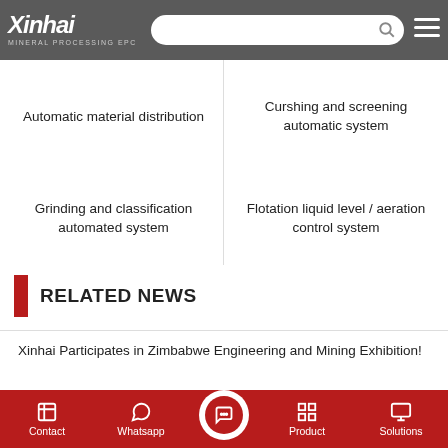Xinhai MINERAL PROCESSING EPC
Automatic material distribution
Curshing and screening automatic system
Grinding and classification automated system
Flotation liquid level / aeration control system
RELATED NEWS
Xinhai Participates in Zimbabwe Engineering and Mining Exhibition!
Malaysia 550TPD Lead-Zinc Ore Flotation Plant Contracted by Xinhai
Contact  Whatsapp  Product  Solutions